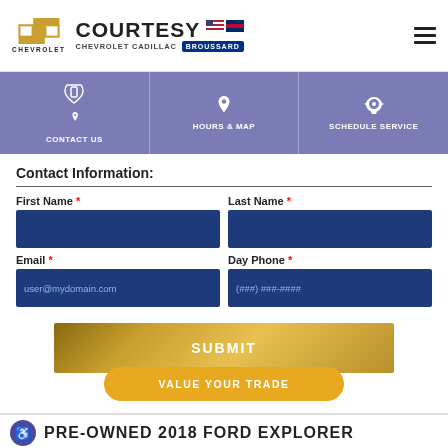[Figure (logo): Chevrolet bowtie logo with CHEVROLET text below]
[Figure (logo): Courtesy Chevrolet Cadillac Broussard dealer logo with flag icons]
[Figure (other): Hamburger menu icon (three horizontal lines)]
CONTACT US
HOURS & MAP
SCHEDULE SERVICE
Contact Information:
First Name *
Last Name *
Email *
Day Phone *
user@mydomain.com
(###) ###-####
SUBMIT
VALUE YOUR TRADE
PRE-OWNED 2018 FORD EXPLORER